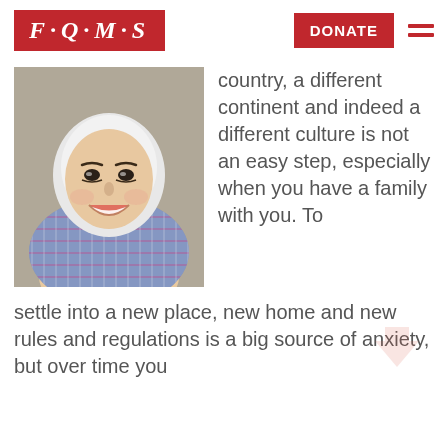[Figure (logo): FQMS logo in red banner with decorative border]
[Figure (photo): Smiling young woman wearing a white and patterned hijab, selfie-style photo]
country, a different continent and indeed a different culture is not an easy step, especially when you have a family with you. To settle into a new place, new home and new rules and regulations is a big source of anxiety, but over time you